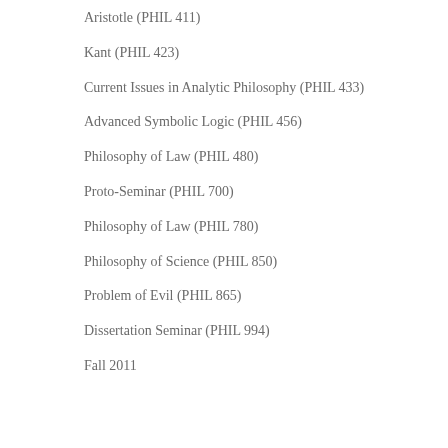Aristotle (PHIL 411)
Kant (PHIL 423)
Current Issues in Analytic Philosophy (PHIL 433)
Advanced Symbolic Logic (PHIL 456)
Philosophy of Law (PHIL 480)
Proto‑Seminar (PHIL 700)
Philosophy of Law (PHIL 780)
Philosophy of Science (PHIL 850)
Problem of Evil (PHIL 865)
Dissertation Seminar (PHIL 994)
Fall 2011